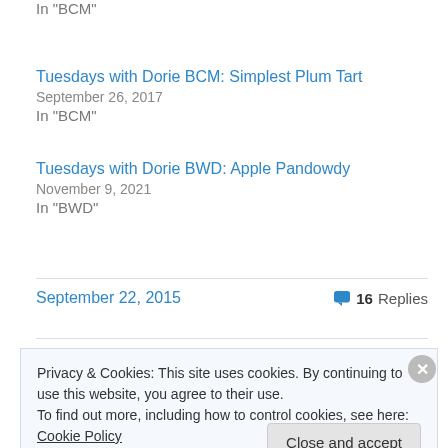In "BCM"
Tuesdays with Dorie BCM: Simplest Plum Tart
September 26, 2017
In "BCM"
Tuesdays with Dorie BWD: Apple Pandowdy
November 9, 2021
In "BWD"
September 22, 2015
16 Replies
Privacy & Cookies: This site uses cookies. By continuing to use this website, you agree to their use. To find out more, including how to control cookies, see here: Cookie Policy
Close and accept